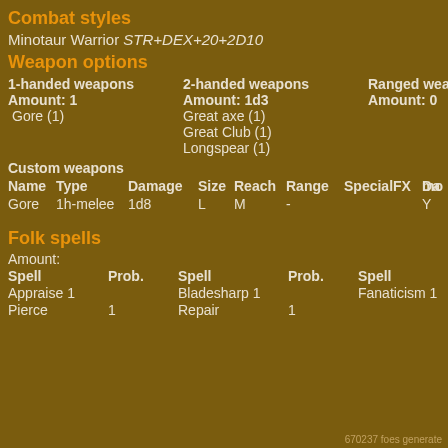Combat styles
Minotaur Warrior STR+DEX+20+2D10
Weapon options
| 1-handed weapons | 2-handed weapons | Ranged weapons | Shields |
| --- | --- | --- | --- |
| Amount: 1 | Amount: 1d3 | Amount: 0 | Amount: |
| Gore (1) | Great axe (1) |  | Hoplite |
|  | Great Club (1) |  |  |
|  | Longspear (1) |  |  |
Custom weapons
| Name | Type | Damage | Size | Reach | Range | SpecialFX | mod | Da |
| --- | --- | --- | --- | --- | --- | --- | --- | --- |
| Gore | 1h-melee | 1d8 | L | M | - |  | Y |  |
Folk spells
Amount:
| Spell | Prob. | Spell | Prob. | Spell | Prob. | Sp |
| --- | --- | --- | --- | --- | --- | --- |
| Appraise 1 |  | Bladesharp 1 |  | Fanaticism 1 |  | He |
| Pierce | 1 | Repair | 1 |  |  |  |
670237 foes generate